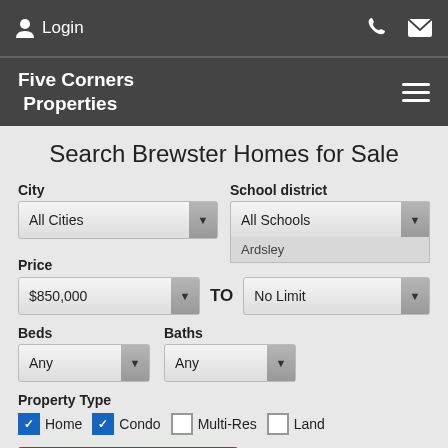Login | Phone | Mail | Five Corners Properties | hamburger menu
Search Brewster Homes for Sale
City: All Cities (dropdown) | School district: All Schools / Ardsley (dropdown)
Price: $850,000 (dropdown) TO No Limit (dropdown)
Beds: Any (dropdown) | Baths: Any (dropdown)
Property Type: Home (checked), Condo (checked), Multi-Res (unchecked), Land (unchecked)
Search button | Advanced Search